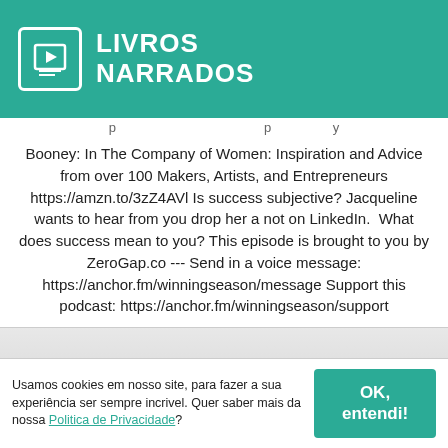[Figure (logo): Livros Narrados logo with teal background, white book/play icon, and white bold text 'LIVROS NARRADOS']
Booney: In The Company of Women: Inspiration and Advice from over 100 Makers, Artists, and Entrepreneurs https://amzn.to/3zZ4AVl Is success subjective? Jacqueline wants to hear from you drop her a not on LinkedIn.  What does success mean to you? This episode is brought to you by ZeroGap.co --- Send in a voice message: https://anchor.fm/winningseason/message Support this podcast: https://anchor.fm/winningseason/support
Usamos cookies em nosso site, para fazer a sua experiência ser sempre incrivel. Quer saber mais da nossa Politica de Privacidade?